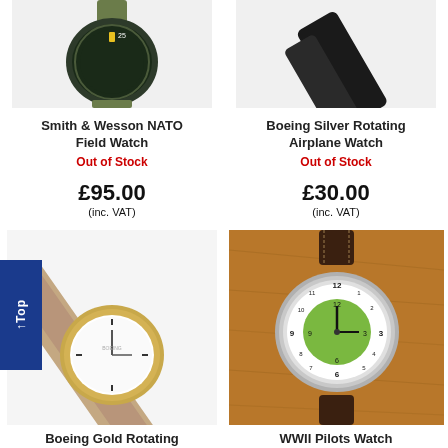[Figure (photo): Smith & Wesson NATO Field Watch - dark green military watch with olive strap, viewed from above at angle]
Smith & Wesson NATO Field Watch
Out of Stock
£95.00 (inc. VAT)
[Figure (photo): Boeing Silver Rotating Airplane Watch - silver watch with black leather strap, partial view]
Boeing Silver Rotating Airplane Watch
Out of Stock
£30.00 (inc. VAT)
[Figure (photo): Boeing Gold Rotating watch - elegant watch with gold case and brown leather strap on white background]
Boeing Gold Rotating
[Figure (photo): WWII Pilots Watch - silver watch with green inner dial and dark brown leather strap on cork background]
WWII Pilots Watch